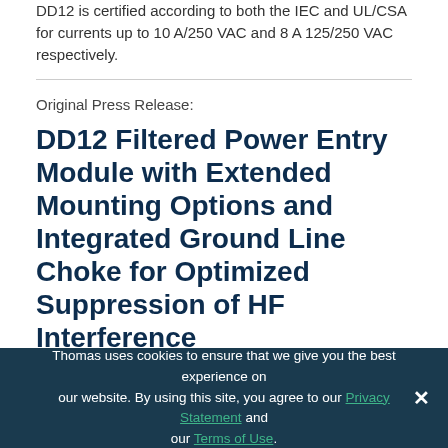DD12 is certified according to both the IEC and UL/CSA for currents up to 10 A/250 VAC and 8 A 125/250 VAC respectively.
Original Press Release:
DD12 Filtered Power Entry Module with Extended Mounting Options and Integrated Ground Line Choke for Optimized Suppression of HF Interference
Santa Rosa, California, July 25, 2018 – SCHURTER extends its successful power entry module series DD12 with screw
Thomas uses cookies to ensure that we give you the best experience on our website. By using this site, you agree to our Privacy Statement and our Terms of Use.